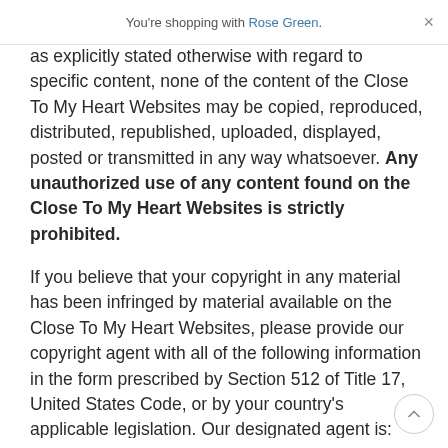You're shopping with Rose Green. ×
Photographs are either copyright of CTMH Co. or licensed to Close To My Heart by third parties. Except as explicitly stated otherwise with regard to specific content, none of the content of the Close To My Heart Websites may be copied, reproduced, distributed, republished, uploaded, displayed, posted or transmitted in any way whatsoever. Any unauthorized use of any content found on the Close To My Heart Websites is strictly prohibited.
If you believe that your copyright in any material has been infringed by material available on the Close To My Heart Websites, please provide our copyright agent with all of the following information in the form prescribed by Section 512 of Title 17, United States Code, or by your country's applicable legislation. Our designated agent is: Close To My Heart, Inc., Legal Department, 1199 West 700 South, Pleasant Grove, Utah 84062 USA.